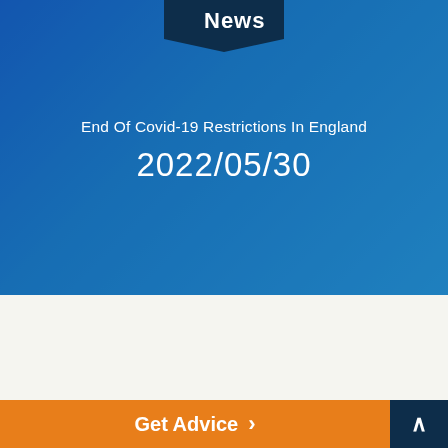News
End Of Covid-19 Restrictions In England
2022/05/30
[Figure (photo): Blue-tinted hero image of a smiling man in a blue jacket, with a dark blue 'News' badge at the top center]
Back To List
Get Advice